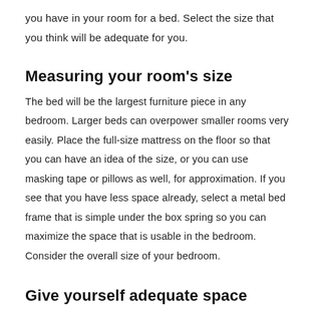you have in your room for a bed. Select the size that you think will be adequate for you.
Measuring your room's size
The bed will be the largest furniture piece in any bedroom. Larger beds can overpower smaller rooms very easily. Place the full-size mattress on the floor so that you can have an idea of the size, or you can use masking tape or pillows as well, for approximation. If you see that you have less space already, select a metal bed frame that is simple under the box spring so you can maximize the space that is usable in the bedroom. Consider the overall size of your bedroom.
Give yourself adequate space
If you have a larger bedroom and also a partner who takes the